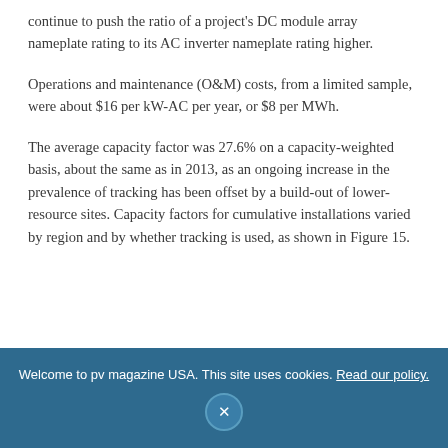continue to push the ratio of a project’s DC module array nameplate rating to its AC inverter nameplate rating higher.
Operations and maintenance (O&M) costs, from a limited sample, were about $16 per kW-AC per year, or $8 per MWh.
The average capacity factor was 27.6% on a capacity-weighted basis, about the same as in 2013, as an ongoing increase in the prevalence of tracking has been offset by a build-out of lower-resource sites. Capacity factors for cumulative installations varied by region and by whether tracking is used, as shown in Figure 15.
Welcome to pv magazine USA. This site uses cookies. Read our policy.